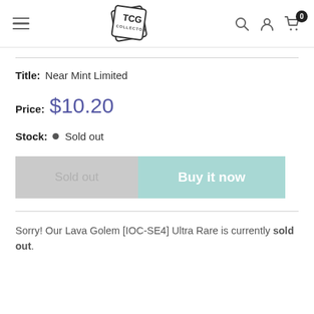[Figure (logo): TCG Collector logo — diamond-shaped badge with 'TCG COLLECTOR' text]
Title: Near Mint Limited
Price: $10.20
Stock: Sold out
Sold out  Buy it now
Sorry! Our Lava Golem [IOC-SE4] Ultra Rare is currently sold out.